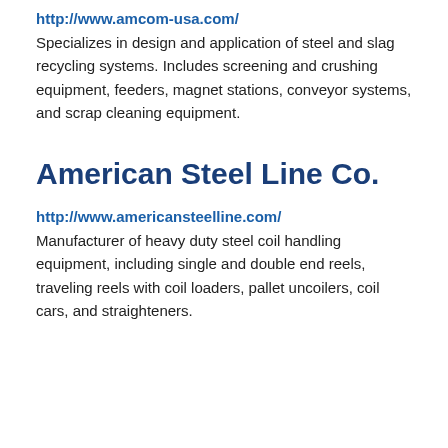http://www.amcom-usa.com/
Specializes in design and application of steel and slag recycling systems. Includes screening and crushing equipment, feeders, magnet stations, conveyor systems, and scrap cleaning equipment.
American Steel Line Co.
http://www.americansteelline.com/
Manufacturer of heavy duty steel coil handling equipment, including single and double end reels, traveling reels with coil loaders, pallet uncoilers, coil cars, and straighteners.